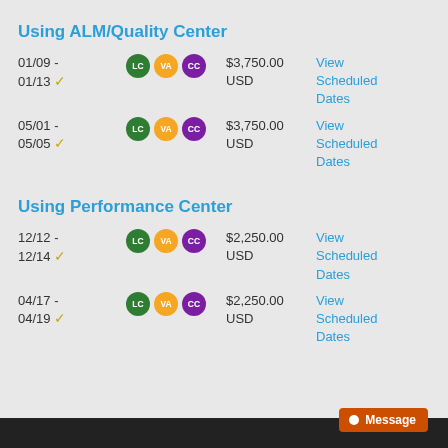Using ALM/Quality Center
01/09 - 01/13 ✓  LC VA CC  $3,750.00 USD  View Scheduled Dates
05/01 - 05/05 ✓  LC VA CC  $3,750.00 USD  View Scheduled Dates
Using Performance Center
12/12 - 12/14 ✓  LC VA CC  $2,250.00 USD  View Scheduled Dates
04/17 - 04/19 ✓  LC VA CC  $2,250.00 USD  View Scheduled Dates